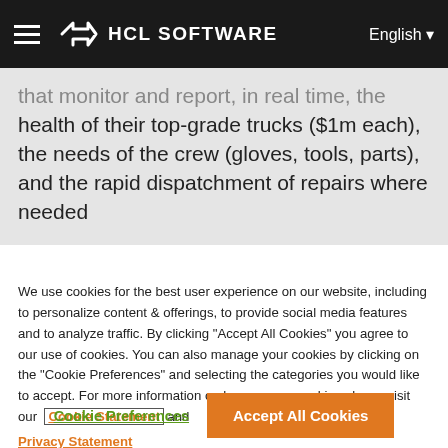HCL SOFTWARE | English
that monitor and report, in real time, the health of their top-grade trucks ($1m each), the needs of the crew (gloves, tools, parts), and the rapid dispatchment of repairs where needed
We use cookies for the best user experience on our website, including to personalize content & offerings, to provide social media features and to analyze traffic. By clicking "Accept All Cookies" you agree to our use of cookies. You can also manage your cookies by clicking on the "Cookie Preferences" and selecting the categories you would like to accept. For more information on how we use cookies please visit our Cookie Statement and Privacy Statement
Cookie Preferences | Accept All Cookies